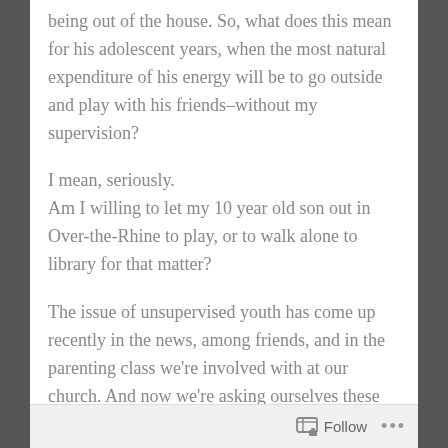being out of the house. So, what does this mean for his adolescent years, when the most natural expenditure of his energy will be to go outside and play with his friends–without my supervision?
I mean, seriously.
Am I willing to let my 10 year old son out in Over-the-Rhine to play, or to walk alone to library for that matter?
The issue of unsupervised youth has come up recently in the news, among friends, and in the parenting class we're involved with at our church. And now we're asking ourselves these
Follow ···